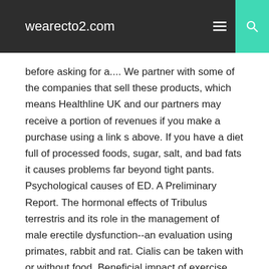wearecto2.com
before asking for a.... We partner with some of the companies that sell these products, which means Healthline UK and our partners may receive a portion of revenues if you make a purchase using a link s above. If you have a diet full of processed foods, sugar, salt, and bad fats it causes problems far beyond tight pants. Psychological causes of ED. A Preliminary Report. The hormonal effects of Tribulus terrestris and its role in the management of male erectile dysfunction--an evaluation using primates, rabbit and rat. Cialis can be taken with or without food. Beneficial impact of exercise and obesity interventions on erectile function and its risk factors. Cohen et al. This article is not intended to provide medical advice, diagnosis or